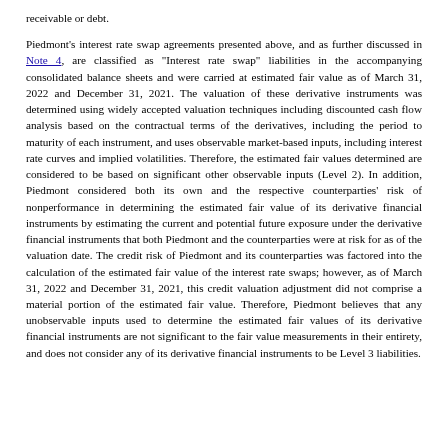receivable or debt.
Piedmont's interest rate swap agreements presented above, and as further discussed in Note 4, are classified as "Interest rate swap" liabilities in the accompanying consolidated balance sheets and were carried at estimated fair value as of March 31, 2022 and December 31, 2021. The valuation of these derivative instruments was determined using widely accepted valuation techniques including discounted cash flow analysis based on the contractual terms of the derivatives, including the period to maturity of each instrument, and uses observable market-based inputs, including interest rate curves and implied volatilities. Therefore, the estimated fair values determined are considered to be based on significant other observable inputs (Level 2). In addition, Piedmont considered both its own and the respective counterparties' risk of nonperformance in determining the estimated fair value of its derivative financial instruments by estimating the current and potential future exposure under the derivative financial instruments that both Piedmont and the counterparties were at risk for as of the valuation date. The credit risk of Piedmont and its counterparties was factored into the calculation of the estimated fair value of the interest rate swaps; however, as of March 31, 2022 and December 31, 2021, this credit valuation adjustment did not comprise a material portion of the estimated fair value. Therefore, Piedmont believes that any unobservable inputs used to determine the estimated fair values of its derivative financial instruments are not significant to the fair value measurements in their entirety, and does not consider any of its derivative financial instruments to be Level 3 liabilities.